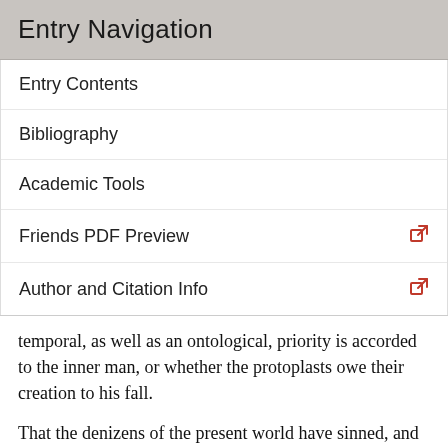Entry Navigation
Entry Contents
Bibliography
Academic Tools
Friends PDF Preview
Author and Citation Info
temporal, as well as an ontological, priority is accorded to the inner man, or whether the protoplasts owe their creation to his fall.
That the denizens of the present world have sinned, and will sin again, is a ubiquitous premiss of Origen's theodicy. Misadventures which the world ascribes to fortune, fate or the malice of our superhuman guardians will always in fact be trials of virtue, chastisements for sin (perhaps forgotten) or correctives to hidden injustice. If the ways of providence remain elusive—if we cannot divine why God loved Jacob and hated Esau— the